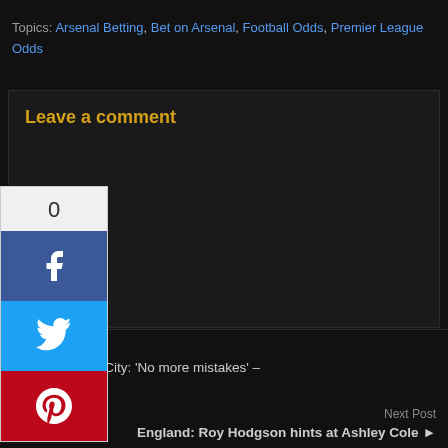Topics: Arsenal Betting, Bet on Arsenal, Football Odds, Premier League Odds
Leave a comment
[Figure (other): Social sharing sidebar with share count (0), Facebook button, Twitter button, and Pinterest button]
Previous Post
◄ Manchester City: 'No more mistakes' – Fernandinho
Next Post
England: Roy Hodgson hints at Ashley Cole ►